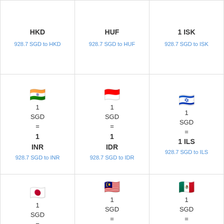| HKD | HUF | 1 ISK |
| --- | --- | --- |
| 928.7 SGD to HKD | 928.7 SGD to HUF | 928.7 SGD to ISK |
| 🇮🇳 1 SGD = 1 INR
928.7 SGD to INR | 🇮🇩 1 SGD = 1 IDR
928.7 SGD to IDR | 🇮🇱 1 SGD = 1 ILS
928.7 SGD to ILS |
| 🇯🇵 1 SGD = 1 JPY
928.7 SGD to JPY | 🇲🇾 1 SGD = 1 MYR
928.7 SGD to MYR | 🇲🇽 1 SGD = 1 MXN
928.7 SGD to MXN |